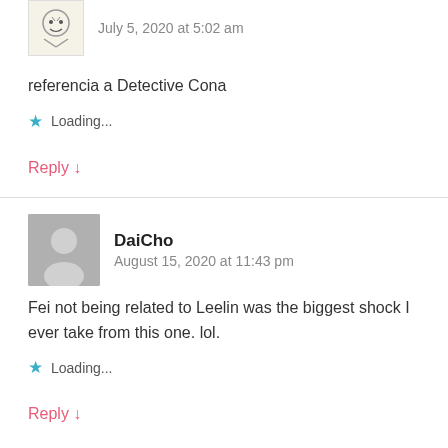[Figure (illustration): Small cartoon/sketch avatar image]
July 5, 2020 at 5:02 am
referencia a Detective Cona
★ Loading...
Reply ↓
[Figure (illustration): Gray default avatar silhouette]
DaiCho
August 15, 2020 at 11:43 pm
Fei not being related to Leelin was the biggest shock I ever take from this one. lol.
★ Loading...
Reply ↓